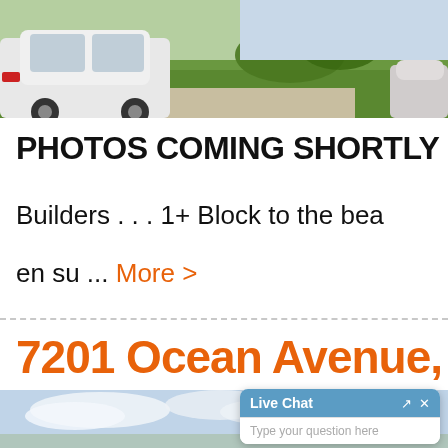[Figure (photo): Outdoor scene showing a white SUV/Jeep parked in a driveway with green lawn and flowering bushes, and a covered car on the right side]
PHOTOS COMING SHORTLY .
Builders . . . 1+ Block to the bea
en su  ... More >
7201 Ocean Avenue,
[Figure (photo): Sky with clouds, lower portion of page with a Live Chat widget overlay in the bottom right corner]